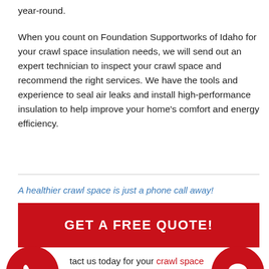year-round.
When you count on Foundation Supportworks of Idaho for your crawl space insulation needs, we will send out an expert technician to inspect your crawl space and recommend the right services. We have the tools and experience to seal air leaks and install high-performance insulation to help improve your home's comfort and energy efficiency.
A healthier crawl space is just a phone call away!
GET A FREE QUOTE!
tact us today for your crawl space insulation quo ve Boise, Pocatello, Idaho Falls and many nding areas.